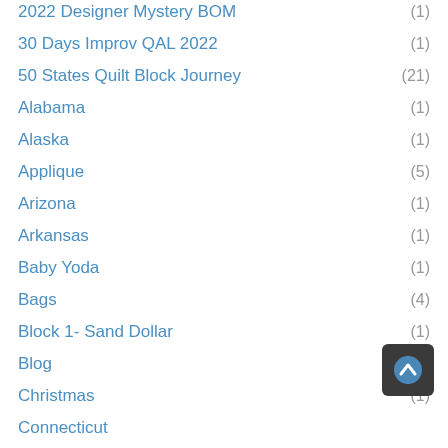2022 Designer Mystery BOM (1)
30 Days Improv QAL 2022 (1)
50 States Quilt Block Journey (21)
Alabama (1)
Alaska (1)
Applique (5)
Arizona (1)
Arkansas (1)
Baby Yoda (1)
Bags (4)
Block 1- Sand Dollar (1)
Blog (1)
Christmas (1)
Connecticut
Cricut Patterns (6)